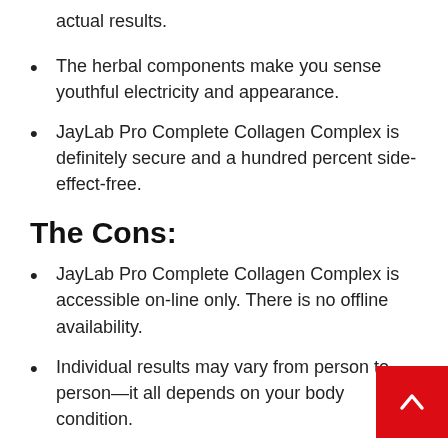actual results.
The herbal components make you sense youthful electricity and appearance.
JayLab Pro Complete Collagen Complex is definitely secure and a hundred percent side-effect-free.
The Cons:
JayLab Pro Complete Collagen Complex is accessible on-line only. There is no offline availability.
Individual results may vary from person to person—it all depends on your body condition.
If you have any doubt or allergen with any ingredients, you should think about it with a health practitioner earlier than the usage of this superfood.